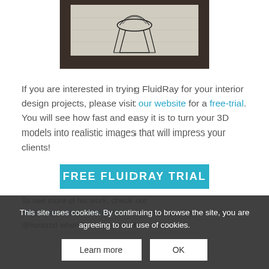[Figure (photo): Interior room photo showing a wire chair on a carpet floor with dark wood border trim, viewed from above at an angle.]
If you are interested in trying FluidRay for your interior design projects, please visit our website for a free-trial. You will see how fast and easy it is to turn your 3D models into realistic images that will impress your clients!
[Figure (other): Cyan/teal banner button with text FREE FLUIDRAY TRIAL in white bold uppercase letters.]
To see more of his work, check out https://www.lonse-fluidray.com and to follow him on Instagram @lionsrcd where you can view his most
This site uses cookies. By continuing to browse the site, you are agreeing to our use of cookies.